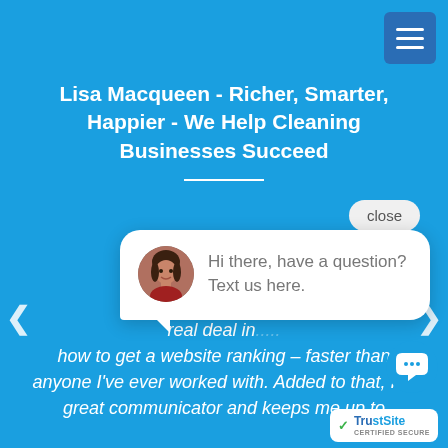Lisa Macqueen - Richer, Smarter, Happier - We Help Cleaning Businesses Succeed
"I'm really h... who is looki... real deal in... how to get a website ranking – faster than anyone I've ever worked with. Added to that, I ... great communicator and keeps me up to ...
[Figure (screenshot): Chat popup with avatar photo of a woman, text: Hi there, have a question? Text us here. Close button above the popup. TrustSite certified secure badge at bottom right.]